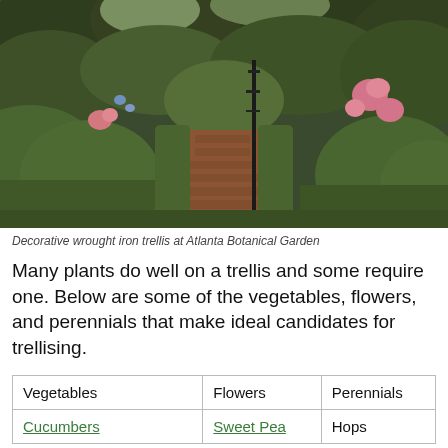[Figure (photo): Garden path with brick walkway lined by neatly trimmed green hedges, with roses and trees in background at Atlanta Botanical Garden]
Decorative wrought iron trellis at Atlanta Botanical Garden
Many plants do well on a trellis and some require one. Below are some of the vegetables, flowers, and perennials that make ideal candidates for trellising.
| Vegetables | Flowers | Perennials |
| --- | --- | --- |
| Cucumbers | Sweet Pea | Hops |